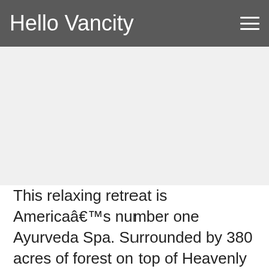Hello Vancity
[Figure (other): Advertisement placeholder area, blank light gray rectangle]
This relaxing retreat is Americaâ€™s number one Ayurveda Spa. Surrounded by 380 acres of forest on top of Heavenly Mountain, the Art of Living Retreat Centre gives guests the opportunity to find peace as they